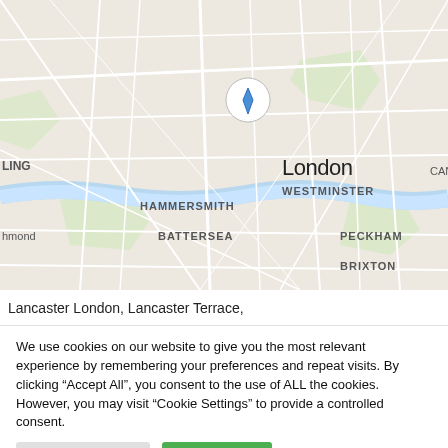[Figure (map): Google Maps view of London showing Westminster, Hammersmith, Battersea, Peckham, Brixton and surrounding areas with a location pin marker near central London. Partial labels visible including ALING, ntford, hmond, CANA on edges.]
Lancaster London, Lancaster Terrace,
We use cookies on our website to give you the most relevant experience by remembering your preferences and repeat visits. By clicking “Accept All”, you consent to the use of ALL the cookies. However, you may visit "Cookie Settings" to provide a controlled consent.
Cookie Settings
Accept All